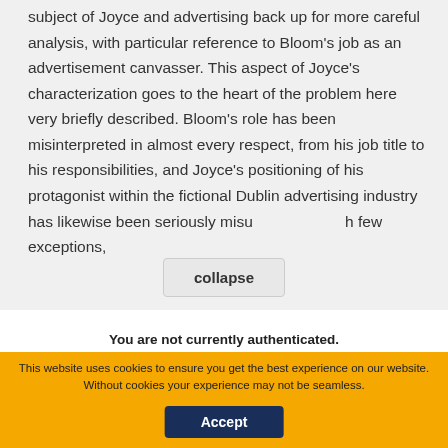This article is an attempt to open the subject of Joyce and advertising back up for more careful analysis, with particular reference to Bloom's job as an advertisement canvasser. This aspect of Joyce's characterization goes to the heart of the problem here very briefly described. Bloom's role has been misinterpreted in almost every respect, from his job title to his responsibilities, and Joyce's positioning of his protagonist within the fictional Dublin advertising industry has likewise been seriously misu[collapse]h few exceptions,
collapse
You are not currently authenticated. If you would like to authenticate using a different subscribed institution or
This website uses cookies to ensure you get the best experience on our website. Without cookies your experience may not be seamless.
Accept